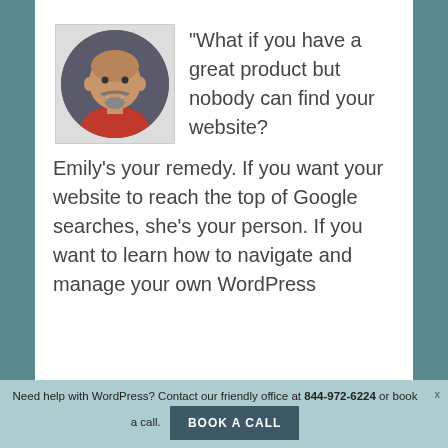[Figure (photo): Circular headshot photo of a bald man with a goatee, smiling broadly, wearing a red shirt, against a dark grey background.]
“What if you have a great product but nobody can find your website? Emily’s your remedy. If you want your website to reach the top of Google searches, she’s your person. If you want to learn how to navigate and manage your own WordPress
Need help with WordPress? Contact our friendly office at 844-972-6224 or book a call. BOOK A CALL